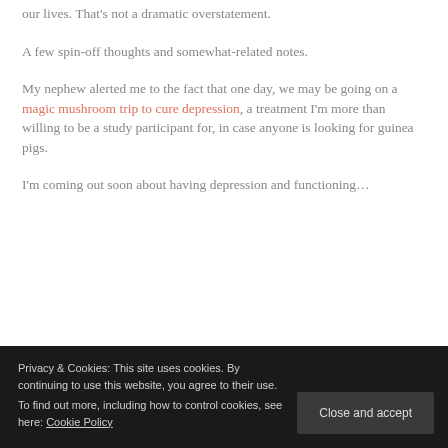our lives. That's not a dramatic overstatement.
A few spin-off thoughts and somewhat-related notes.
My nephew alerted me to the fact that one day, we may be going on a magic mushroom trip to cure depression, a treatment I'm more than willing to be a study participant for, in case anyone is looking for guinea pigs.
I'm coming out soon about having depression and functioning…
Privacy & Cookies: This site uses cookies. By continuing to use this website, you agree to their use. To find out more, including how to control cookies, see here: Cookie Policy
Close and accept